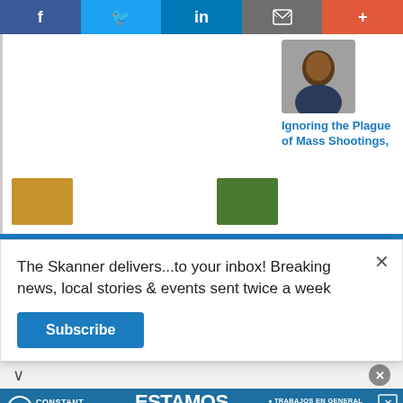[Figure (screenshot): Social media sharing bar with Facebook, Twitter, LinkedIn, Email, and Plus buttons]
[Figure (photo): Headshot of a Black man in a suit against a dark background]
Ignoring the Plague of Mass Shootings,
[Figure (photo): Thumbnail image with orange/yellow tones]
[Figure (photo): Thumbnail image with green/warehouse tones]
The Skanner delivers...to your inbox! Breaking news, local stories & events sent twice a week
Subscribe
[Figure (infographic): Constant Staffing ad: ESTAMOS CONTRATANDO - BILINGÜES - 713-714-8909 with job listing bullets]